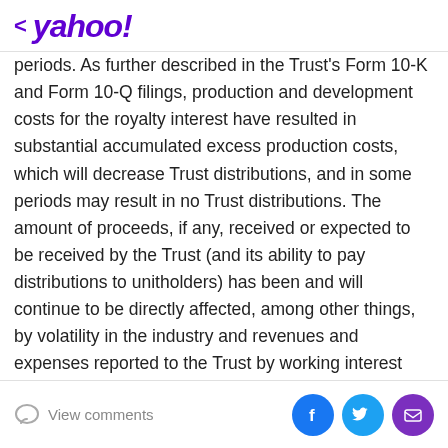< yahoo!
periods. As further described in the Trust's Form 10-K and Form 10-Q filings, production and development costs for the royalty interest have resulted in substantial accumulated excess production costs, which will decrease Trust distributions, and in some periods may result in no Trust distributions. The amount of proceeds, if any, received or expected to be received by the Trust (and its ability to pay distributions to unitholders) has been and will continue to be directly affected, among other things, by volatility in the industry and revenues and expenses reported to the Trust by working interest owners. Any additional expenses and adjustments, among other things, will reduce proceeds to the Trust, which will reduce the amounts for distribution from...
View comments